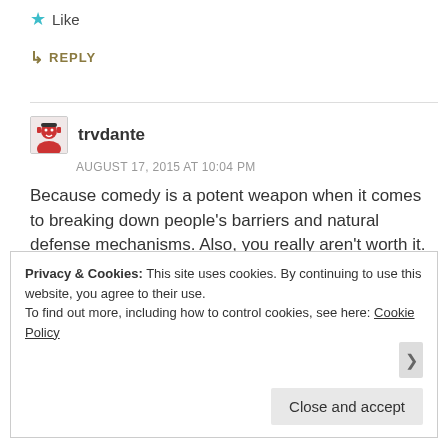★ Like
↳ REPLY
trvdante
AUGUST 17, 2015 AT 10:04 PM
Because comedy is a potent weapon when it comes to breaking down people's barriers and natural defense mechanisms. Also, you really aren't worth it.
★ Liked by 1 person
Privacy & Cookies: This site uses cookies. By continuing to use this website, you agree to their use.
To find out more, including how to control cookies, see here: Cookie Policy
Close and accept